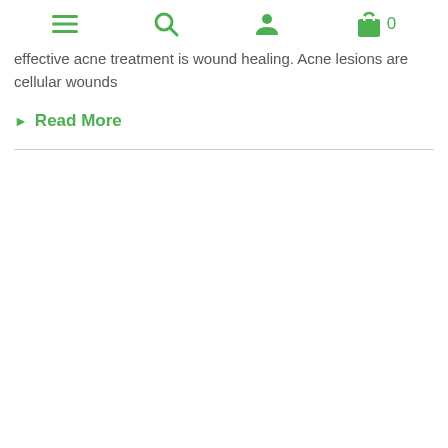Menu | Search | Account | Cart 0
effective acne treatment is wound healing. Acne lesions are cellular wounds
Read More